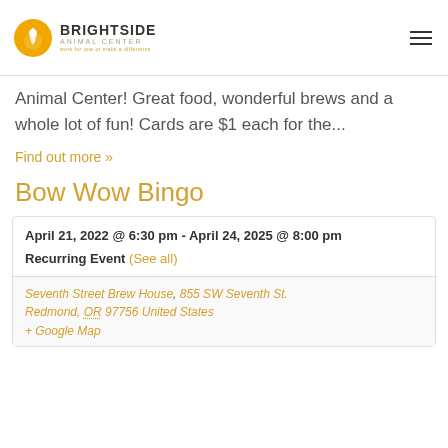BrightSide Animal Center
Animal Center! Great food, wonderful brews and a whole lot of fun! Cards are $1 each for the...
Find out more »
Bow Wow Bingo
April 21, 2022 @ 6:30 pm - April 24, 2025 @ 8:00 pm
Recurring Event (See all)
Seventh Street Brew House, 855 SW Seventh St. Redmond, OR 97756 United States
+ Google Map